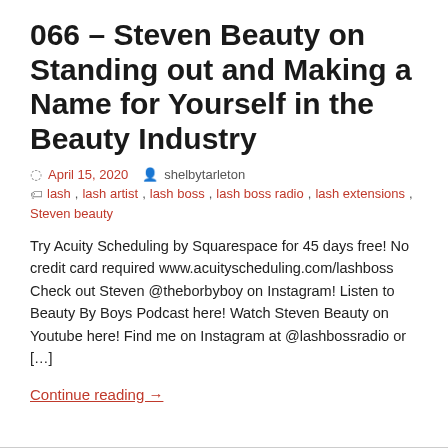066 – Steven Beauty on Standing out and Making a Name for Yourself in the Beauty Industry
April 15, 2020   shelbytarleton
lash , lash artist , lash boss , lash boss radio , lash extensions , Steven beauty
Try Acuity Scheduling by Squarespace for 45 days free! No credit card required www.acuityscheduling.com/lashboss Check out Steven @theborbyboy on Instagram! Listen to Beauty By Boys Podcast here! Watch Steven Beauty on Youtube here! Find me on Instagram at @lashbossradio or […]
Continue reading →